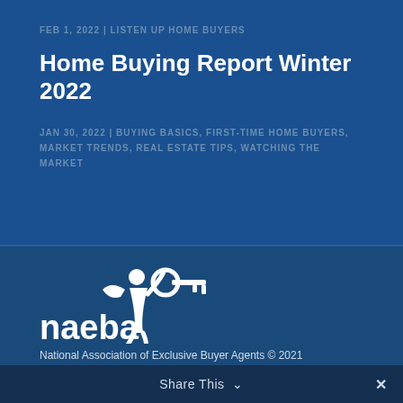FEB 1, 2022 | LISTEN UP HOME BUYERS
Home Buying Report Winter 2022
JAN 30, 2022 | BUYING BASICS, FIRST-TIME HOME BUYERS, MARKET TRENDS, REAL ESTATE TIPS, WATCHING THE MARKET
[Figure (logo): NAEBA logo — stylized figure with key, text reads 'naeba']
National Association of Exclusive Buyer Agents © 2021
·Privacy Policy
Share This ∨  ✕